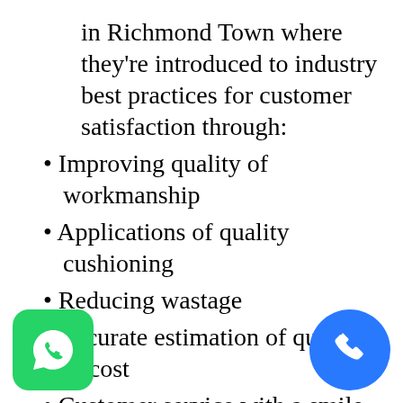in Richmond Town where they're introduced to industry best practices for customer satisfaction through:
• Improving quality of workmanship
• Applications of quality cushioning
• Reducing wastage
• Accurate estimation of quantity & cost
• Customer service with a smile
[Figure (logo): WhatsApp green icon in bottom left corner]
[Figure (logo): Blue phone call icon in bottom right corner]